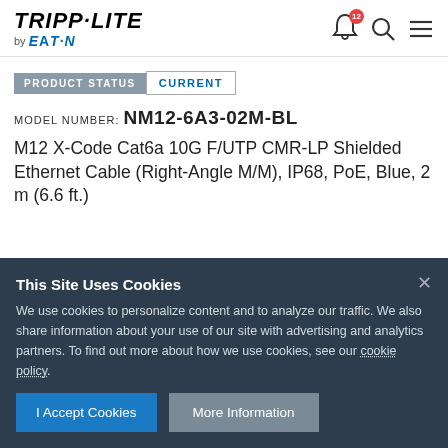[Figure (logo): Tripp-Lite by Eaton logo in top left header]
[Figure (logo): Navigation icons: bell with badge 12, search, hamburger menu]
PRODUCT STATUS: CURRENT
MODEL NUMBER: NM12-6A3-02M-BL
M12 X-Code Cat6a 10G F/UTP CMR-LP Shielded Ethernet Cable (Right-Angle M/M), IP68, PoE, Blue, 2 m (6.6 ft.)
This Site Uses Cookies
We use cookies to personalize content and to analyze our traffic. We also share information about your use of our site with advertising and analytics partners. To find out more about how we use cookies, see our cookie policy.
I Accept Cookies   More Information